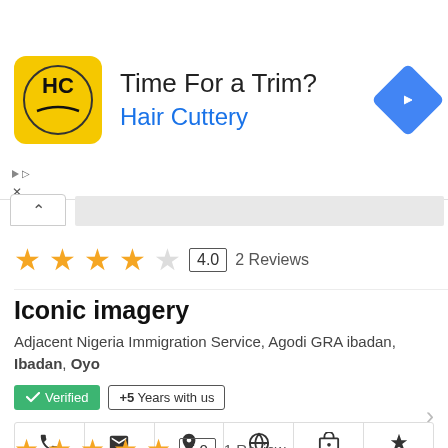[Figure (advertisement): Hair Cuttery ad banner with logo (HC on yellow background), headline 'Time For a Trim?' and brand name 'Hair Cuttery' in blue, with a blue diamond navigation icon]
4.0  2 Reviews
Iconic imagery
Adjacent Nigeria Immigration Service, Agodi GRA ibadan, Ibadan, Oyo
✓ Verified  +5 Years with us
Phone  E-mail  Map  Website  4 Photos  3 Products
5.0  1 Review
Babsolut Computer School
Suite C39, Oluyole Shopping Complex, New Garage, Ibadan